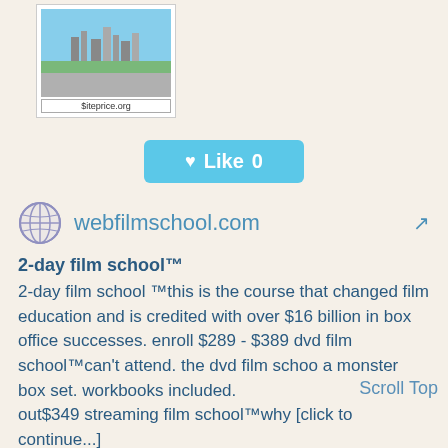[Figure (screenshot): Screenshot of a website showing a city skyline (Los Angeles) with Siteprice.org watermark]
[Figure (other): Like button with heart icon showing 0 likes]
webfilmschool.com
2-day film school™
2-day film school ™this is the course that changed film education and is credited with over $16 billion in box office successes. enroll $289 - $389 dvd film school™can't attend. the dvd film schoo a monster box set. workbooks included. out$349 streaming film school™why [click to continue...]
Scroll Top
Website Worth: $ 10,300
Categories: Education/Reference, Entertainment